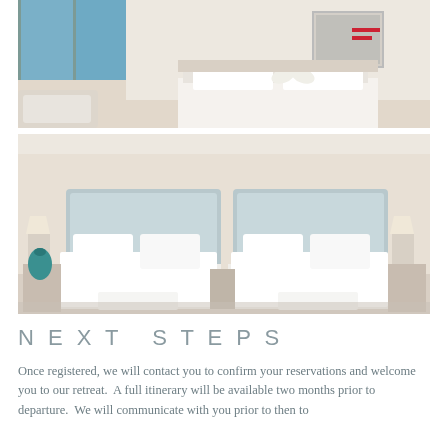[Figure (photo): Hotel bedroom with glass folding doors open to a sea view, white bed with towel swans, artwork on wall with red graphic accent]
[Figure (photo): Twin bedroom with two single beds each with light blue upholstered headboards, white bedding, wall sconces, teal vase]
NEXT STEPS
Once registered, we will contact you to confirm your reservations and welcome you to our retreat.  A full itinerary will be available two months prior to departure.  We will communicate with you prior to then to